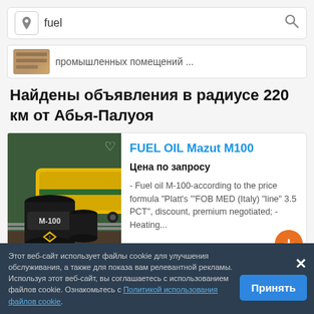[Figure (screenshot): Mobile app search bar with location pin icon, text input showing 'fuel', and search magnifier icon]
[Figure (screenshot): Partially visible previous listing with thumbnail image and Russian text 'промышленных помещений ...']
Найдены объявления в радиусе 220 км от Абья-Палуоя
[Figure (photo): Product listing image showing black oil barrels labeled M-100 in front of yellow tanker rail cars]
FUEL OIL Mazut M100
Цена по запросу
- Fuel oil M-100-according to the price formula "Platt's ""FOB MED (Italy) "line" 3.5 PCT", discount, premium negotiated; - Heating...
Этот веб-сайт использует файлы cookie для улучшения обслуживания, а также для показа вам релевантной рекламы. Используя этот веб-сайт, вы соглашаетесь с использованием файлов cookie. Ознакомьтесь с Политикой использования файлов cookie.